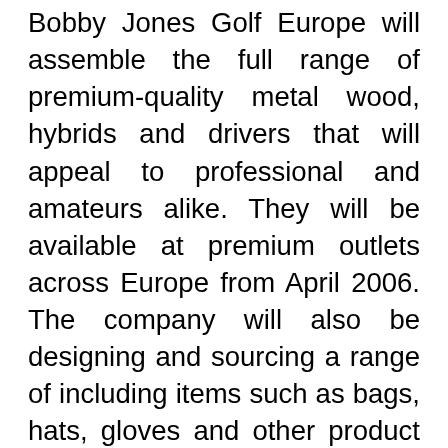Bobby Jones Golf Europe will assemble the full range of premium-quality metal wood, hybrids and drivers that will appeal to professional and amateurs alike. They will be available at premium outlets across Europe from April 2006. The company will also be designing and sourcing a range of including items such as bags, hats, gloves and other product lines under the exclusive license agreement with The Bobby Jones Golf Company. The Bobby Jones Golf Company has an exclusive, worldwide license agreement with the Bobby Jones family heirs and the Hartmax Corporation for the use of the Bobby Jones name for golf equipment